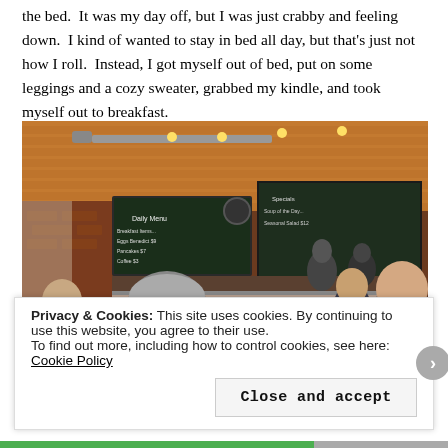the bed.  It was my day off, but I was just crabby and feeling down.  I kind of wanted to stay in bed all day, but that's just not how I roll.  Instead, I got myself out of bed, put on some leggings and a cozy sweater, grabbed my kindle, and took myself out to breakfast.
[Figure (photo): Interior of a casual restaurant/diner with brick walls, chalkboard menus, industrial ceiling with orange wood slats and track lighting. Multiple patrons seated at tables with red chairs, a man with gray hair seen from behind in foreground. A woman on the right side talks animatedly. Counter/kitchen area visible in background.]
Privacy & Cookies: This site uses cookies. By continuing to use this website, you agree to their use.
To find out more, including how to control cookies, see here: Cookie Policy
Close and accept